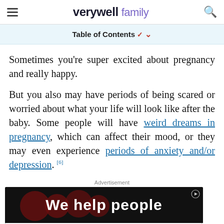verywell family
Table of Contents
Sometimes you’re super excited about pregnancy and really happy.
But you also may have periods of being scared or worried about what your life will look like after the baby. Some people will have weird dreams in pregnancy, which can affect their mood, or they may even experience periods of anxiety and/or depression. [6]
Advertisement
[Figure (screenshot): Advertisement banner showing Target promotion: 'Try FREE Drive Up for baby essentials' with Shop now button, overlaid on a dark background with 'We help people' text]